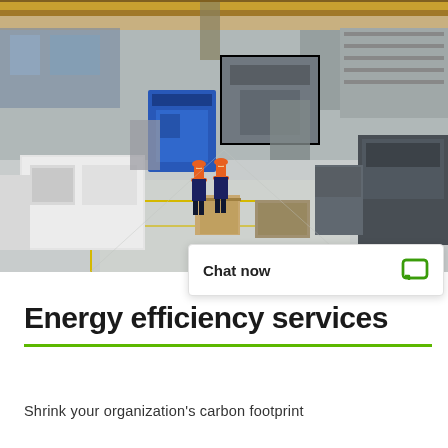[Figure (photo): Wide-angle view of a large industrial manufacturing facility or warehouse floor. Two workers in orange high-visibility vests and hard hats walk down the central aisle. The facility contains heavy machinery including a prominent blue machine, white equipment units on the left, large dark grey machines on the right, and overhead yellow crane beams. Cardboard boxes and equipment are scattered throughout.]
Chat now
Energy efficiency services
Shrink your organization's carbon footprint